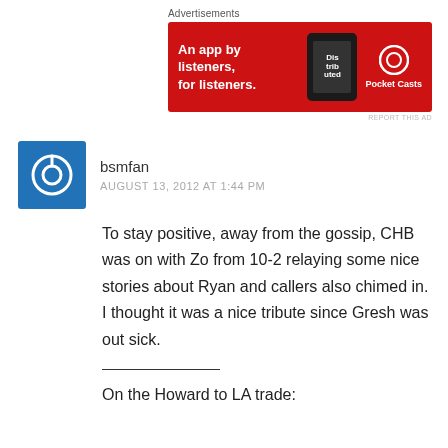[Figure (other): Advertisement banner for Pocket Casts app. Red background with white text 'An app by listeners, for listeners.' and Pocket Casts logo with a phone image.]
bsmfan
AUGUST 13, 2012 AT 1:44 PM
To stay positive, away from the gossip, CHB was on with Zo from 10-2 relaying some nice stories about Ryan and callers also chimed in. I thought it was a nice tribute since Gresh was out sick.
On the Howard to LA trade: